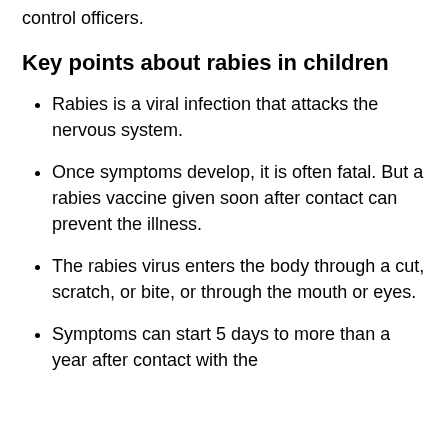control officers.
Key points about rabies in children
Rabies is a viral infection that attacks the nervous system.
Once symptoms develop, it is often fatal. But a rabies vaccine given soon after contact can prevent the illness.
The rabies virus enters the body through a cut, scratch, or bite, or through the mouth or eyes.
Symptoms can start 5 days to more than a year after contact with the